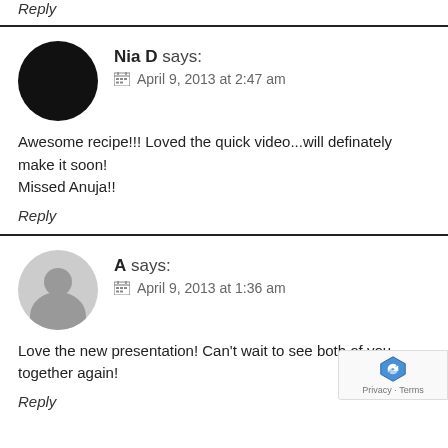Reply
[Figure (photo): Black circle avatar for user Nia D]
Nia D says:
April 9, 2013 at 2:47 am
Awesome recipe!!! Loved the quick video...will definately make it soon!
Missed Anuja!!
Reply
[Figure (photo): Gray default avatar for user A]
A says:
April 9, 2013 at 1:36 am
Love the new presentation! Can't wait to see both of you together again!
Reply